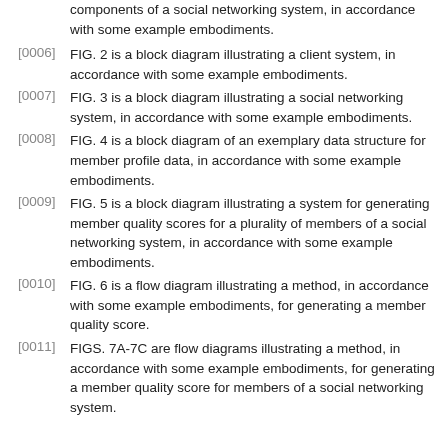components of a social networking system, in accordance with some example embodiments.
[0006] FIG. 2 is a block diagram illustrating a client system, in accordance with some example embodiments.
[0007] FIG. 3 is a block diagram illustrating a social networking system, in accordance with some example embodiments.
[0008] FIG. 4 is a block diagram of an exemplary data structure for member profile data, in accordance with some example embodiments.
[0009] FIG. 5 is a block diagram illustrating a system for generating member quality scores for a plurality of members of a social networking system, in accordance with some example embodiments.
[0010] FIG. 6 is a flow diagram illustrating a method, in accordance with some example embodiments, for generating a member quality score.
[0011] FIGS. 7A-7C are flow diagrams illustrating a method, in accordance with some example embodiments, for generating a member quality score for members of a social networking system.